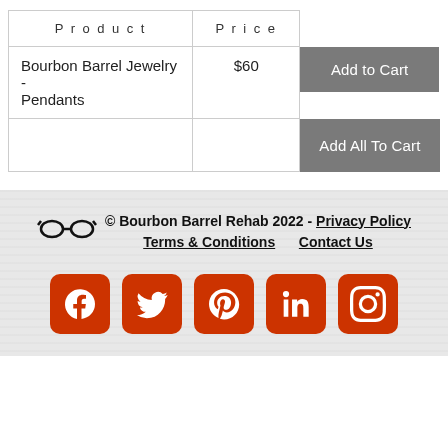| Product | Price |  |
| --- | --- | --- |
| Bourbon Barrel Jewelry - Pendants | $60 | Add to Cart |
|  |  | Add All To Cart |
© Bourbon Barrel Rehab 2022 - Privacy Policy  Terms & Conditions  Contact Us
[Figure (other): Social media icons: Facebook, Twitter, Pinterest, LinkedIn, Instagram — orange rounded square buttons]